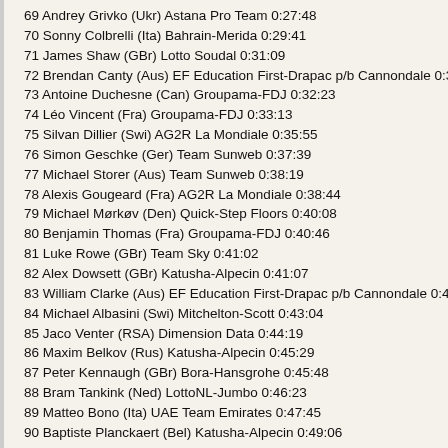69 Andrey Grivko (Ukr) Astana Pro Team 0:27:48
70 Sonny Colbrelli (Ita) Bahrain-Merida 0:29:41
71 James Shaw (GBr) Lotto Soudal 0:31:09
72 Brendan Canty (Aus) EF Education First-Drapac p/b Cannondale 0:31:56
73 Antoine Duchesne (Can) Groupama-FDJ 0:32:23
74 Léo Vincent (Fra) Groupama-FDJ 0:33:13
75 Silvan Dillier (Swi) AG2R La Mondiale 0:35:55
76 Simon Geschke (Ger) Team Sunweb 0:37:39
77 Michael Storer (Aus) Team Sunweb 0:38:19
78 Alexis Gougeard (Fra) AG2R La Mondiale 0:38:44
79 Michael Mørkøv (Den) Quick-Step Floors 0:40:08
80 Benjamin Thomas (Fra) Groupama-FDJ 0:40:46
81 Luke Rowe (GBr) Team Sky 0:41:02
82 Alex Dowsett (GBr) Katusha-Alpecin 0:41:07
83 William Clarke (Aus) EF Education First-Drapac p/b Cannondale 0:41:35
84 Michael Albasini (Swi) Mitchelton-Scott 0:43:04
85 Jaco Venter (RSA) Dimension Data 0:44:19
86 Maxim Belkov (Rus) Katusha-Alpecin 0:45:29
87 Peter Kennaugh (GBr) Bora-Hansgrohe 0:45:48
88 Bram Tankink (Ned) LottoNL-Jumbo 0:46:23
89 Matteo Bono (Ita) UAE Team Emirates 0:47:45
90 Baptiste Planckaert (Bel) Katusha-Alpecin 0:49:06
91 Nico Denz (Ger) AG2R La Mondiale 0:49:57
92 Kristijan Koren (Slo) Bahrain-Merida 0:54:26
93 Timothy Dupont (Bel) Wanty-Groupe Gobert 0:55:07